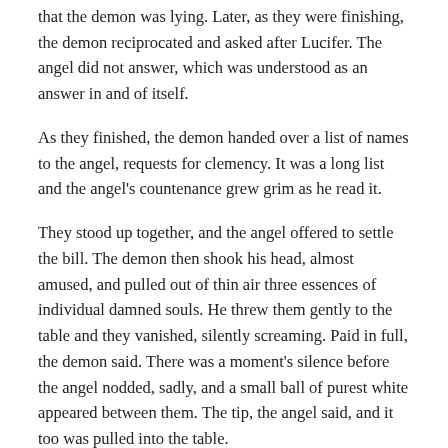that the demon was lying. Later, as they were finishing, the demon reciprocated and asked after Lucifer. The angel did not answer, which was understood as an answer in and of itself.
As they finished, the demon handed over a list of names to the angel, requests for clemency. It was a long list and the angel's countenance grew grim as he read it.
They stood up together, and the angel offered to settle the bill. The demon then shook his head, almost amused, and pulled out of thin air three essences of individual damned souls. He threw them gently to the table and they vanished, silently screaming. Paid in full, the demon said. There was a moment's silence before the angel nodded, sadly, and a small ball of purest white appeared between them. The tip, the angel said, and it too was pulled into the table.
Then they left through the same door, the demon turning left, the angel leaving in the opposite direction.
And from behind a screen, the owner of the restaurant smiled at one more year of peace treaty between heaven and hell, moved forward in time one year and re-opened for business in Delhi. And waited for the door to open once again.
This is a repost of a piece that was originally posted back in November